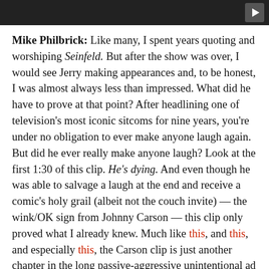[Figure (other): Dark video player bar with a play button icon in the top-right corner]
Mike Philbrick: Like many, I spent years quoting and worshiping Seinfeld. But after the show was over, I would see Jerry making appearances and, to be honest, I was almost always less than impressed. What did he have to prove at that point? After headlining one of television's most iconic sitcoms for nine years, you're under no obligation to ever make anyone laugh again. But did he ever really make anyone laugh? Look at the first 1:30 of this clip. He's dying. And even though he was able to salvage a laugh at the end and receive a comic's holy grail (albeit not the couch invite) — the wink/OK sign from Johnny Carson — this clip only proved what I already knew. Much like this, and this, and especially this, the Carson clip is just another chapter in the long passive-aggressive unintentional ad campaign that reminds us that Larry David and Curb Your